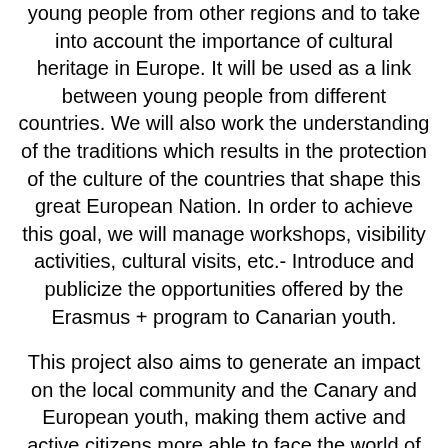young people from other regions and to take into account the importance of cultural heritage in Europe. It will be used as a link between young people from different countries. We will also work the understanding of the traditions which results in the protection of the culture of the countries that shape this great European Nation. In order to achieve this goal, we will manage workshops, visibility activities, cultural visits, etc.- Introduce and publicize the opportunities offered by the Erasmus + program to Canarian youth.
This project also aims to generate an impact on the local community and the Canary and European youth, making them active and active citizens more able to face the world of work and to the development and participation in new Erasmus + programs, infecting